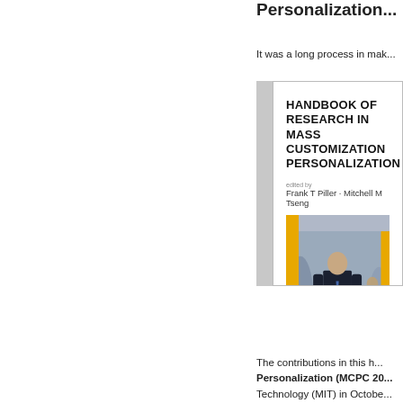Personalization...
It was a long process in mak...
[Figure (illustration): Book cover of 'Handbook of Research in Mass Customization and Personalization' edited by Frank T Piller and Mitchell M Tseng, published by World Scientific. Cover shows a man in a suit standing against a blurred background of people.]
The contributions in this h... Personalization (MCPC 20... Technology (MIT) in Octobe...